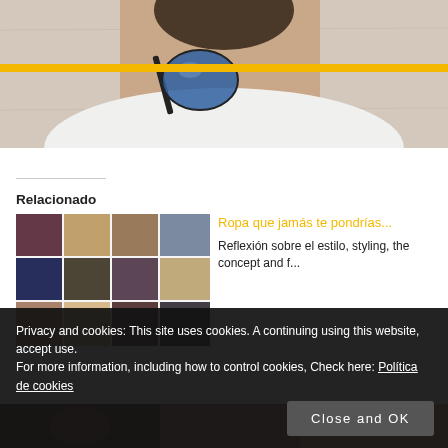[Figure (photo): Cropped photo of a person wearing a white shirt and sunglasses, against a marble-like background, with a yellow horizontal bar overlay]
Relacionado
[Figure (photo): Grid collage of 12 small thumbnails showing various fashion/film scenes]
Ropa que jamás te pondrías...
Reflexión sobre el estilo, styling, the concept and f...
Privacy and cookies: This site uses cookies. A continuing using this website, accept use.
For more information, including how to control cookies, Check here: Política de cookies
[Figure (photo): Bottom strip photo showing partial image, warm brown tones]